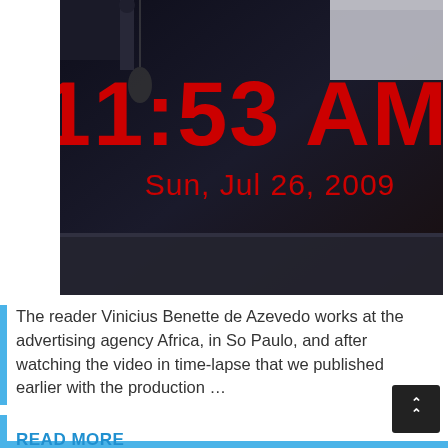[Figure (screenshot): Dark room with a clock display showing 11:53 AM, Sun, Jul 26, 2009 in red digits on a dark background with office/desk elements visible]
The reader Vinicius Benette de Azevedo works at the advertising agency Africa, in So Paulo, and after watching the video in time-lapse that we published earlier with the production …
READ MORE
European Space Agency launches online "expedition" for parents and children to learn more about space
BLOG